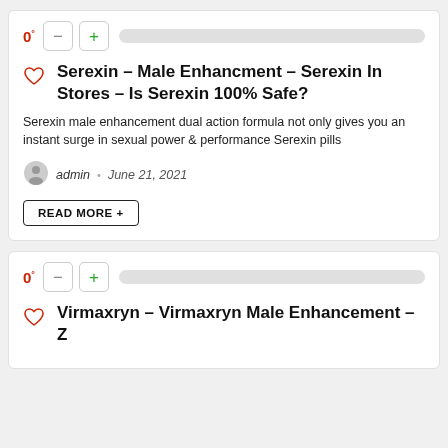0° — vote controls
Serexin – Male Enhancment – Serexin In Stores – Is Serexin 100% Safe?
Serexin male enhancement dual action formula not only gives you an instant surge in sexual power & performance Serexin pills
admin · June 21, 2021
READ MORE +
0° — vote controls
Virmaxryn – Virmaxryn Male Enhancement – Z